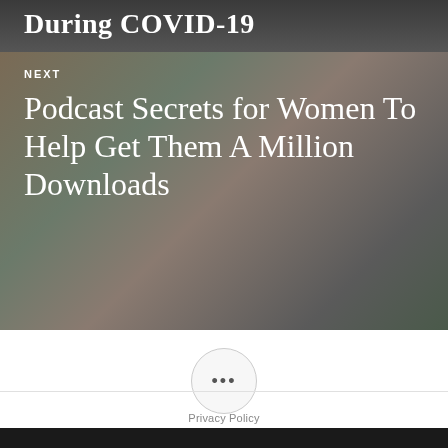[Figure (photo): Top portion of a navigation card showing partial title text 'During COVID-19' over a dark background with a person in athletic wear]
NEXT
Podcast Secrets for Women To Help Get Them A Million Downloads
•••
Privacy Policy